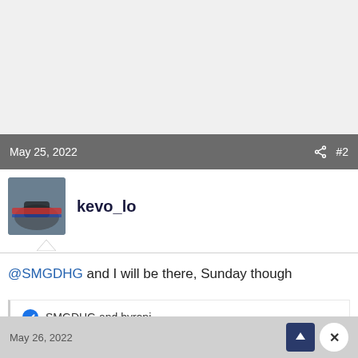May 25, 2022  #2
kevo_lo
@SMGDHG and I will be there, Sunday though
SMGDHG and byronj
May 26, 2022